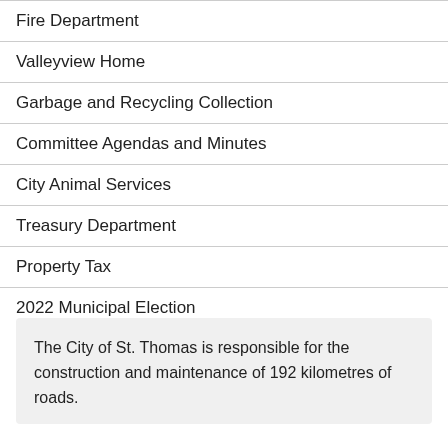Fire Department
Valleyview Home
Garbage and Recycling Collection
Committee Agendas and Minutes
City Animal Services
Treasury Department
Property Tax
2022 Municipal Election
The City of St. Thomas is responsible for the construction and maintenance of 192 kilometres of roads.